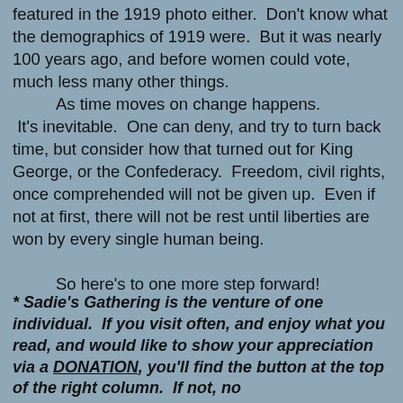featured in the 1919 photo either.  Don't know what the demographics of 1919 were.  But it was nearly 100 years ago, and before women could vote, much less many other things.
      As time moves on change happens.  It's inevitable.  One can deny, and try to turn back time, but consider how that turned out for King George, or the Confederacy.  Freedom, civil rights, once comprehended will not be given up.  Even if not at first, there will not be rest until liberties are won by every single human being.

      So here's to one more step forward!
* Sadie's Gathering is the venture of one individual.  If you visit often, and enjoy what you read, and would like to show your appreciation via a DONATION, you'll find the button at the top of the right column.  If not, no...